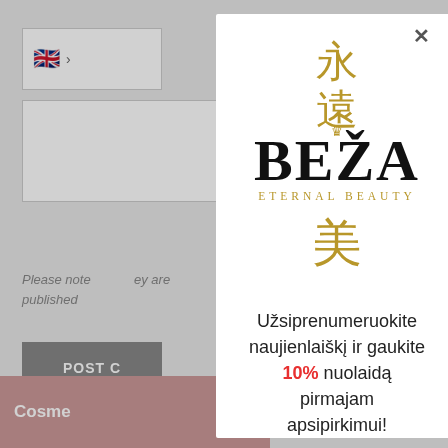[Figure (screenshot): Background page showing a comment form with language selector, text areas, a note about comments being published, a POST COMMENT button, and a bottom bar with 'Cosme...' text. A modal popup overlays the center-right of the page.]
[Figure (logo): BEŽA Eternal Beauty logo with Chinese characters 永遠美 arranged vertically around large serif BEŽA text with subtitle ETERNAL BEAUTY]
Užsiprenumeruokite naujienlaiškį ir gaukite 10% nuolaidą pirmajam apsipirkimui!